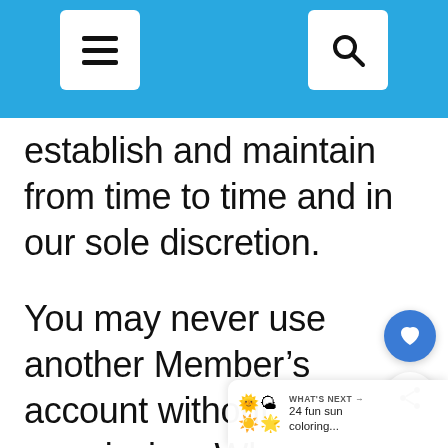[navigation bar with menu and search icons]
establish and maintain from time to time and in our sole discretion.
You may never use another Member’s account without permission. When creating your account, you must provide accurate and complete information. You are solely